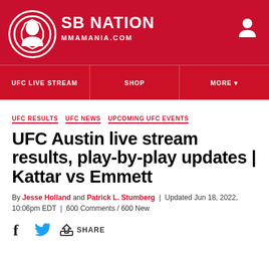SB NATION MMAMANIA.COM
UFC LIVE STREAM   SHOP   MORE
UFC RESULTS  UFC NEWS  UPCOMING UFC EVENTS
UFC Austin live stream results, play-by-play updates | Kattar vs Emmett
By Jesse Holland and Patrick L. Stumberg | Updated Jun 18, 2022, 10:06pm EDT | 600 Comments / 600 New
SHARE